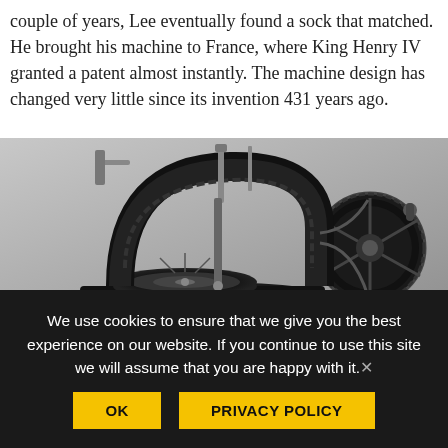couple of years, Lee eventually found a sock that matched. He brought his machine to France, where King Henry IV granted a patent almost instantly. The machine design has changed very little since its invention 431 years ago.
[Figure (photo): Black and white photograph of an antique hand-cranked sewing machine with ornate decorative detailing, viewed from the side against a grey background.]
We use cookies to ensure that we give you the best experience on our website. If you continue to use this site we will assume that you are happy with it. OK  PRIVACY POLICY